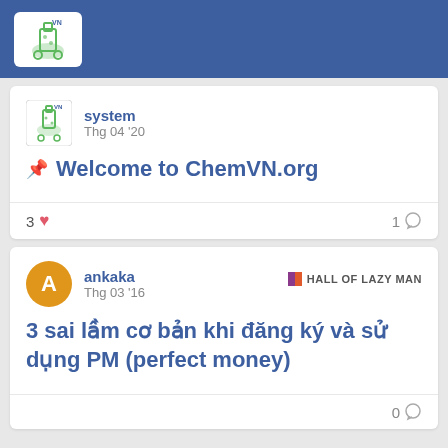ChemVN.org logo
system · Thg 04 '20
📌 Welcome to ChemVN.org
3 ❤  1 💬
ankaka · Thg 03 '16 · HALL OF LAZY MAN
3 sai lầm cơ bản khi đăng ký và sử dụng PM (perfect money)
0 💬